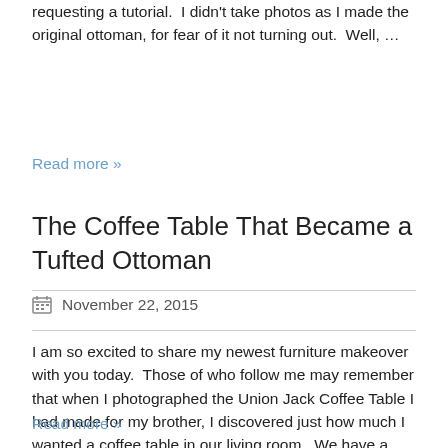requesting a tutorial.  I didn't take photos as I made the original ottoman, for fear of it not turning out.  Well, …
Read more »
The Coffee Table That Became a Tufted Ottoman
November 22, 2015
I am so excited to share my newest furniture makeover with you today.  Those of who follow me may remember that when I photographed the Union Jack Coffee Table I had made for my brother, I discovered just how much I wanted a coffee table in our living room.  We have a decent sized space, which …
Read more »